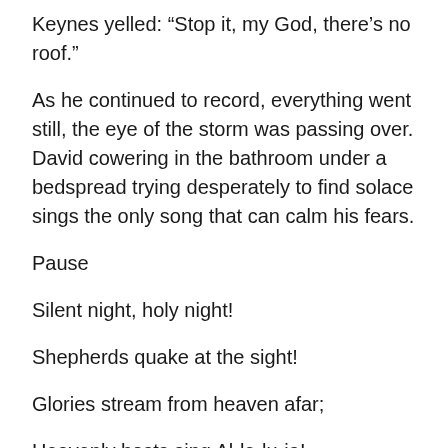Keynes yelled: “Stop it, my God, there’s no roof.”
As he continued to record, everything went still, the eye of the storm was passing over. David cowering in the bathroom under a bedspread trying desperately to find solace sings the only song that can calm his fears.
Pause
Silent night, holy night!
Shepherds quake at the sight!
Glories stream from heaven afar;
Heavenly hosts sing Al-le-lu-ia!